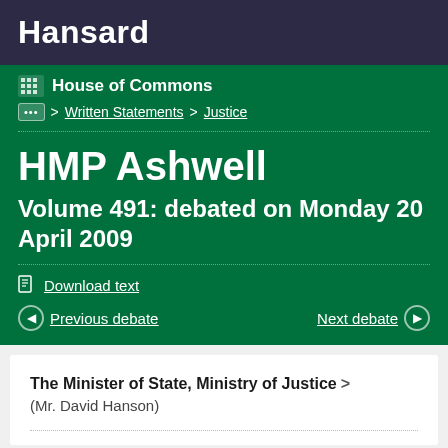Hansard
House of Commons
... > Written Statements > Justice
HMP Ashwell
Volume 491: debated on Monday 20 April 2009
Download text
Previous debate
Next debate
The Minister of State, Ministry of Justice >
(Mr. David Hanson)